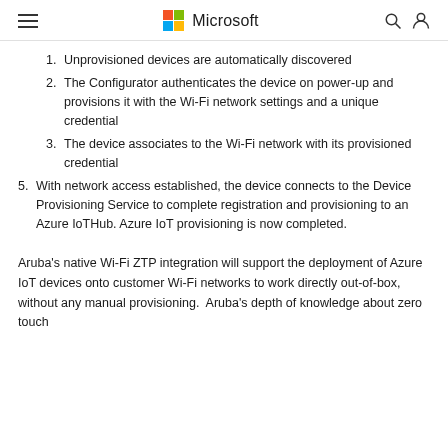Microsoft
Unprovisioned devices are automatically discovered
The Configurator authenticates the device on power-up and provisions it with the Wi-Fi network settings and a unique credential
The device associates to the Wi-Fi network with its provisioned credential
With network access established, the device connects to the Device Provisioning Service to complete registration and provisioning to an Azure IoTHub. Azure IoT provisioning is now completed.
Aruba’s native Wi-Fi ZTP integration will support the deployment of Azure IoT devices onto customer Wi-Fi networks to work directly out-of-box, without any manual provisioning.  Aruba’s depth of knowledge about zero touch